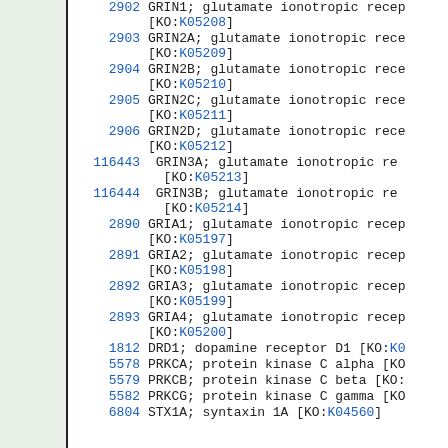2902   GRIN1; glutamate ionotropic recep [KO:K05208]
2903   GRIN2A; glutamate ionotropic rece [KO:K05209]
2904   GRIN2B; glutamate ionotropic rece [KO:K05210]
2905   GRIN2C; glutamate ionotropic rece [KO:K05211]
2906   GRIN2D; glutamate ionotropic rece [KO:K05212]
116443   GRIN3A; glutamate ionotropic re [KO:K05213]
116444   GRIN3B; glutamate ionotropic re [KO:K05214]
2890   GRIA1; glutamate ionotropic recep [KO:K05197]
2891   GRIA2; glutamate ionotropic recep [KO:K05198]
2892   GRIA3; glutamate ionotropic recep [KO:K05199]
2893   GRIA4; glutamate ionotropic recep [KO:K05200]
1812   DRD1; dopamine receptor D1 [KO:K0...]
5578   PRKCA; protein kinase C alpha [KO...]
5579   PRKCB; protein kinase C beta [KO:...]
5582   PRKCG; protein kinase C gamma [KO...]
6804   STX1A; syntaxin 1A [KO:K04560]